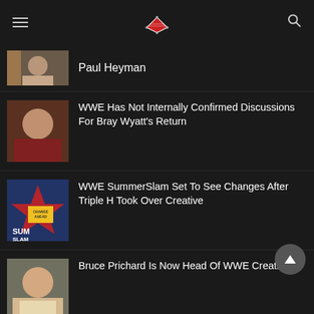Wrestling news site header with logo
Paul Heyman
WWE Has Not Internally Confirmed Discussions For Bray Wyatt's Return
WWE SummerSlam Set To See Changes After Triple H Took Over Creative
Bruce Prichard Is Now Head Of WWE Creative
Max Dupri 'Lacked People Skills'